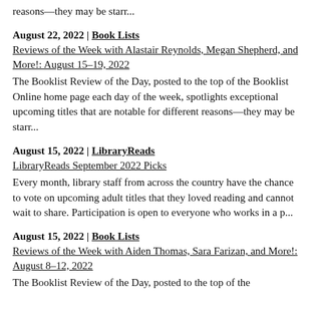reasons—they may be starr...
August 22, 2022 | Book Lists
Reviews of the Week with Alastair Reynolds, Megan Shepherd, and More!: August 15–19, 2022
The Booklist Review of the Day, posted to the top of the Booklist Online home page each day of the week, spotlights exceptional upcoming titles that are notable for different reasons—they may be starr...
August 15, 2022 | LibraryReads
LibraryReads September 2022 Picks
Every month, library staff from across the country have the chance to vote on upcoming adult titles that they loved reading and cannot wait to share. Participation is open to everyone who works in a p...
August 15, 2022 | Book Lists
Reviews of the Week with Aiden Thomas, Sara Farizan, and More!: August 8–12, 2022
The Booklist Review of the Day, posted to the top of the